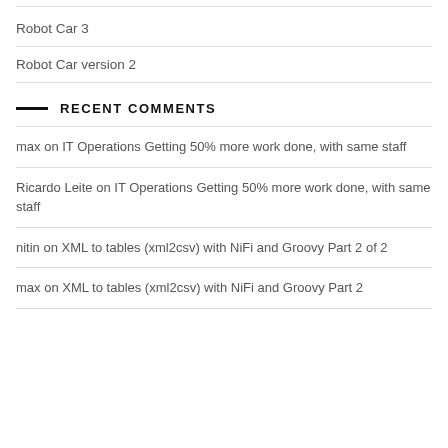Robot Car 3
Robot Car version 2
RECENT COMMENTS
max on IT Operations Getting 50% more work done, with same staff
Ricardo Leite on IT Operations Getting 50% more work done, with same staff
nitin on XML to tables (xml2csv) with NiFi and Groovy Part 2 of 2
max on XML to tables (xml2csv) with NiFi and Groovy Part 2